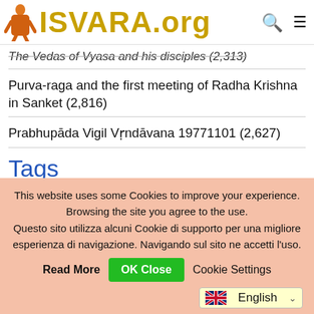ISVARA.org
The Vedas of Vyasa and his disciples (2,313)
Purva-raga and the first meeting of Radha Krishna in Sanket (2,816)
Prabhupāda Vigil Vṛndāvana 19771101 (2,627)
Tags
Bhagavad Gita (200)
This website uses some Cookies to improve your experience. Browsing the site you agree to the use. Questo sito utilizza alcuni Cookie di supporto per una migliore esperienza di navigazione. Navigando sul sito ne accetti l'uso.
Read More   OK Close   Cookie Settings
English